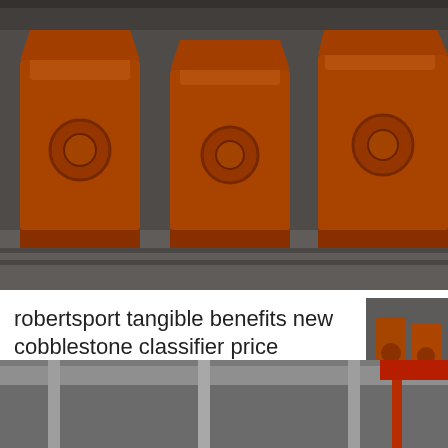[Figure (photo): Large orange industrial classifier/conveyor machines lined up in a factory or warehouse setting. Multiple orange hopper-shaped machines on frames are visible in a row.]
robertsport tangible benefits new cobblestone classifier price
low price medium aluminum hydroxide briquetting plant. medium aluminum hydroxide sand washer inRobertsport. medium aluminum...
[Figure (photo): Industrial interior with orange machinery, large rotating circular table/classifier equipment, metal columns, and overhead crane structures in a factory setting.]